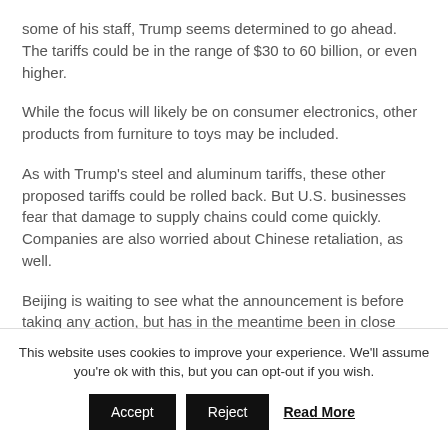some of his staff, Trump seems determined to go ahead. The tariffs could be in the range of $30 to 60 billion, or even higher.
While the focus will likely be on consumer electronics, other products from furniture to toys may be included.
As with Trump's steel and aluminum tariffs, these other proposed tariffs could be rolled back. But U.S. businesses fear that damage to supply chains could come quickly. Companies are also worried about Chinese retaliation, as well.
Beijing is waiting to see what the announcement is before taking any action, but has in the meantime been in close contact with U.S. officials at all levels
This website uses cookies to improve your experience. We'll assume you're ok with this, but you can opt-out if you wish.